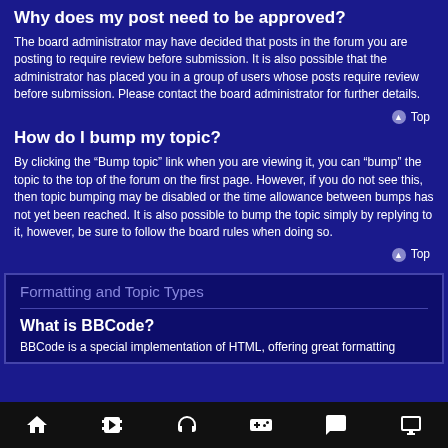Why does my post need to be approved?
The board administrator may have decided that posts in the forum you are posting to require review before submission. It is also possible that the administrator has placed you in a group of users whose posts require review before submission. Please contact the board administrator for further details.
Top
How do I bump my topic?
By clicking the “Bump topic” link when you are viewing it, you can “bump” the topic to the top of the forum on the first page. However, if you do not see this, then topic bumping may be disabled or the time allowance between bumps has not yet been reached. It is also possible to bump the topic simply by replying to it, however, be sure to follow the board rules when doing so.
Top
Formatting and Topic Types
What is BBCode?
BBCode is a special implementation of HTML, offering great formatting...